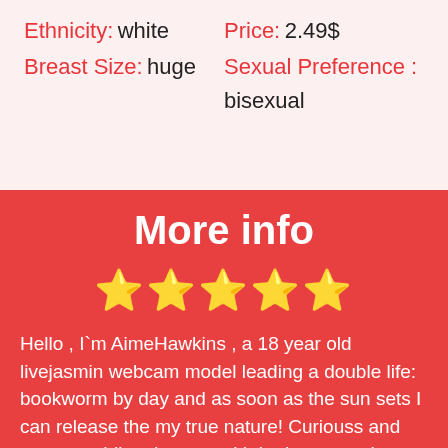Ethnicity: white
Price: 2.49$
Breast Size: huge
Sexual Preference : bisexual
More info
[Figure (other): Five gold stars rating]
Hello , I`m AimeHawkins , a 18 year old livejasmin webcam model leading a double life: bookworm by day and as soon as the sun sets I can release the my true nature! Curiouss and yet soo addicted to sex with both men and women to take this curvy white body and use it for their personal